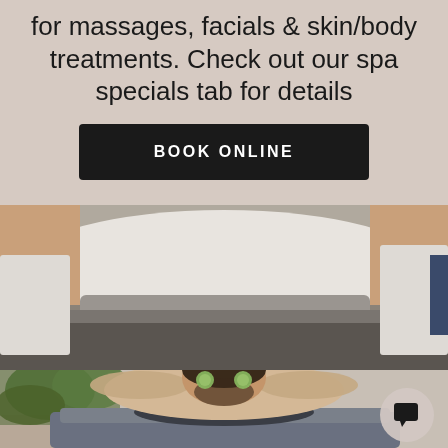for massages, facials & skin/body treatments. Check out our spa specials tab for details
BOOK ONLINE
[Figure (photo): Person lying on a massage table covered with a white towel, close-up view of torso and table edge]
[Figure (photo): Man with cucumber slices on eyes relaxing in a spa robe with arms behind head, palm plant in background]